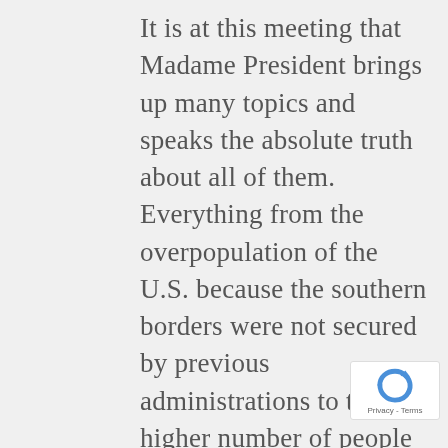It is at this meeting that Madame President brings up many topics and speaks the absolute truth about all of them. Everything from the overpopulation of the U.S. because the southern borders were not secured by previous administrations to the higher number of people on Welfare, is addressed. From Social Security turning almost invisible as well as how the strength of the U.S. military has been cut in the last ten years in order to save money, makes everything even worse. It seems that the U.S. has received an